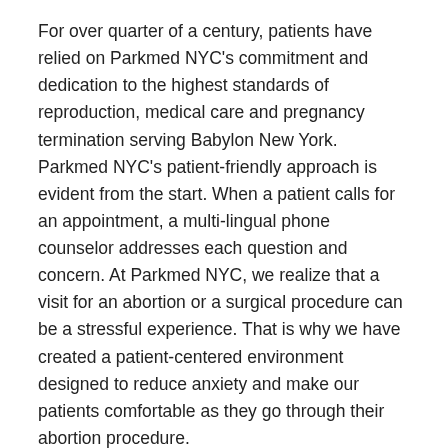For over quarter of a century, patients have relied on Parkmed NYC's commitment and dedication to the highest standards of reproduction, medical care and pregnancy termination serving Babylon New York. Parkmed NYC's patient-friendly approach is evident from the start. When a patient calls for an appointment, a multi-lingual phone counselor addresses each question and concern. At Parkmed NYC, we realize that a visit for an abortion or a surgical procedure can be a stressful experience. That is why we have created a patient-centered environment designed to reduce anxiety and make our patients comfortable as they go through their abortion procedure.
Pregnancy Termination Counseling Serving Babylon NY